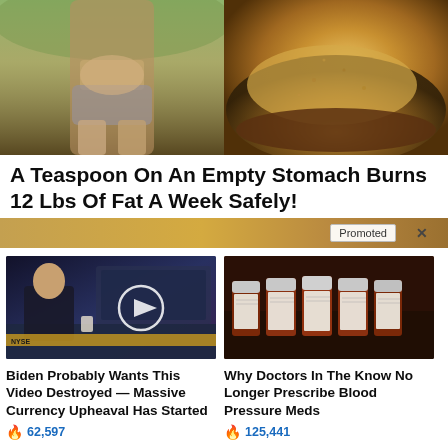[Figure (photo): Two side-by-side images: left shows a fitness woman's torso in shorts, right shows a bowl of golden spice powder]
A Teaspoon On An Empty Stomach Burns 12 Lbs Of Fat A Week Safely!
[Figure (photo): Promotional banner strip with 'Promoted X' label overlay]
[Figure (photo): News video thumbnail showing a man at a TV studio desk with play button overlay]
Biden Probably Wants This Video Destroyed — Massive Currency Upheaval Has Started
62,597
[Figure (photo): Photo of multiple brown prescription medicine bottles lined up]
Why Doctors In The Know No Longer Prescribe Blood Pressure Meds
125,441